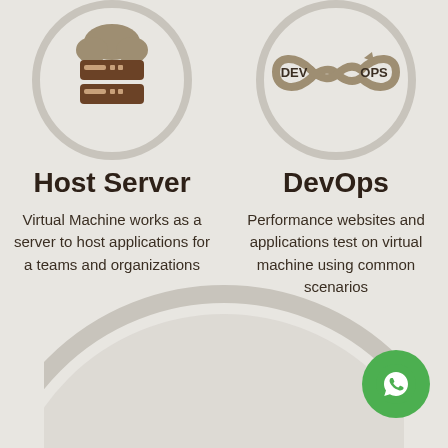[Figure (illustration): Cloud/server icon in a circular gray border - top left]
[Figure (illustration): DevOps circular logo with arrows in circular gray border - top right]
Host Server
Virtual Machine works as a server to host applications for a teams and organizations
DevOps
Performance websites and applications test on virtual machine using common scenarios
[Figure (illustration): Large circular arc shape at the bottom of the page]
[Figure (illustration): Green WhatsApp icon button at bottom right]